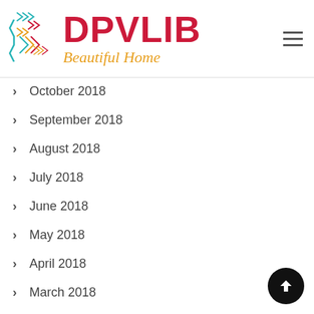DPVLIB Beautiful Home
October 2018
September 2018
August 2018
July 2018
June 2018
May 2018
April 2018
March 2018
February 2018
January 2018
December 2017